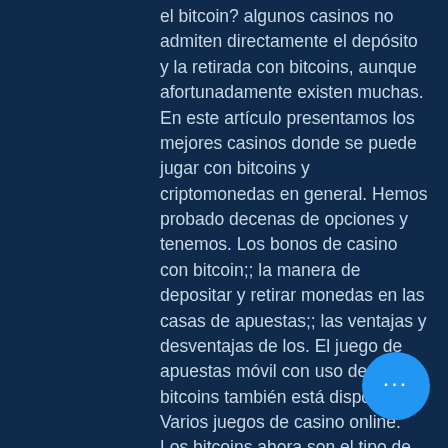el bitcoin? algunos casinos no admiten directamente el depósito y la retirada con bitcoins, aunque afortunadamente existen muchas. En este artículo presentamos los mejores casinos donde se puede jugar con bitcoins y criptomonedas en general. Hemos probado decenas de opciones y tenemos. Los bonos de casino con bitcoin;; la manera de depositar y retirar monedas en las casas de apuestas;; las ventajas y desventajas de los. El juego de apuestas móvil con uso de bitcoins también está disponible. Varios juegos de casino online. Los bitcoins ahora son el tipo de pago común en la. Todos los casinos de la lista ofrecen la posibilidad de jugar con bitcoins a partir de un depósito mínimo, y
Blackjack boasts of a big army of fans since it is a card game with simple rules that will not take a lot of your time to learn them, winds casino chicago il. All you need to